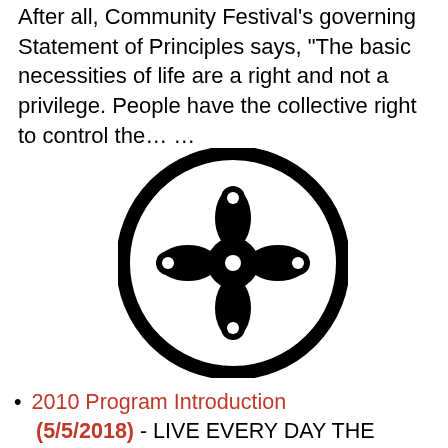After all, Community Festival's governing Statement of Principles says, "The basic necessities of life are a right and not a privilege. People have the collective right to control the… …
[Figure (logo): Community Festival circular logo — black circle outline with a symmetrical black-and-white Adinkra-style symbol inside featuring four circular nodes connected by curved stems around a central circle.]
2010 Program Introduction (5/5/2018) - LIVE EVERY DAY THE COMFEST WAY Welcome to Community Festival-three days of alternative politics,arts & crafts, music, reunions with old friends and introductions to new ones, sunshine (OK rain…), shared dreams and shared work in a shared space. Those repetitions are intentional. The underpinnings of this annual festival were birthed in the cultural civil war of the early 1970's, frictions that have continued to be at the core of America's political and social change…